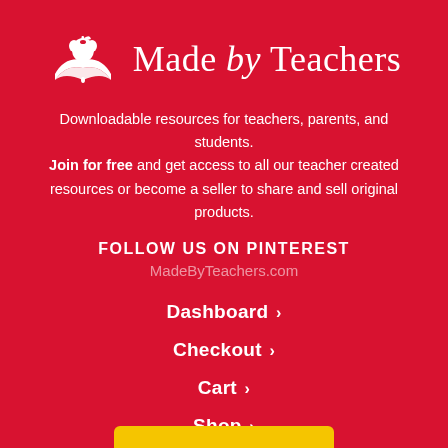[Figure (logo): Made by Teachers logo: white open book with apple icon on red background, text 'Made by Teachers' in serif font]
Downloadable resources for teachers, parents, and students. Join for free and get access to all our teacher created resources or become a seller to share and sell original products.
FOLLOW US ON PINTEREST
MadeByTeachers.com
Dashboard ›
Checkout ›
Cart ›
Shop ›